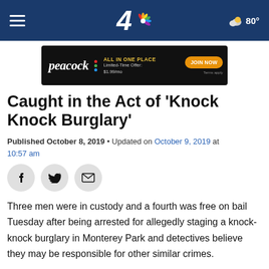NBC 4  80°
[Figure (screenshot): Peacock streaming service advertisement banner: 'ALL IN ONE PLACE Limited-Time Offer: $1.99/mo JOIN NOW Terms apply']
Caught in the Act of 'Knock Knock Burglary'
Published October 8, 2019 • Updated on October 9, 2019 at 10:57 am
[Figure (other): Social sharing icons: Facebook, Twitter, Email]
Three men were in custody and a fourth was free on bail Tuesday after being arrested for allegedly staging a knock-knock burglary in Monterey Park and detectives believe they may be responsible for other similar crimes.
Detectives with a sheriff's department task force saw the